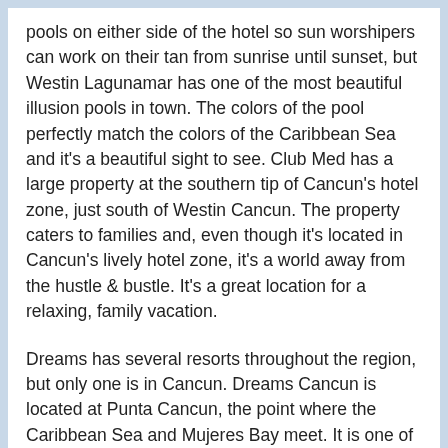pools on either side of the hotel so sun worshipers can work on their tan from sunrise until sunset, but Westin Lagunamar has one of the most beautiful illusion pools in town. The colors of the pool perfectly match the colors of the Caribbean Sea and it's a beautiful sight to see. Club Med has a large property at the southern tip of Cancun's hotel zone, just south of Westin Cancun. The property caters to families and, even though it's located in Cancun's lively hotel zone, it's a world away from the hustle & bustle. It's a great location for a relaxing, family vacation.
Dreams has several resorts throughout the region, but only one is in Cancun. Dreams Cancun is located at Punta Cancun, the point where the Caribbean Sea and Mujeres Bay meet. It is one of Cancun's oldest properties, but has been well-maintained over the years. Dreams hotels are all-inclusive properties which have top-notch service and very good food. Dreams Cancun is walking distance from nightlife, shopping, and restaurants. There